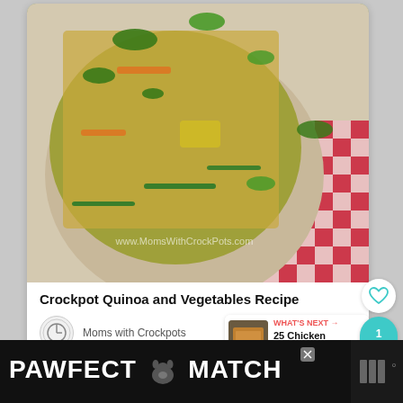[Figure (photo): A wooden bowl filled with crockpot quinoa and vegetables (green beans, carrots, yellow peppers, herbs) on a red and white checkered cloth. Watermark text: www.MomsWithCrockPots.com]
Crockpot Quinoa and Vegetables Recipe
Moms with Crockpots
[Figure (infographic): What's Next callout showing a small image of chicken cutlets with text: WHAT'S NEXT → 25 Chicken Cutlet...]
[Figure (infographic): Side UI buttons: heart (like) button and teal share button showing count 1]
[Figure (infographic): Bottom advertisement banner: PAWFECT (cat icon) MATCH on black background with close X button and logo on right]